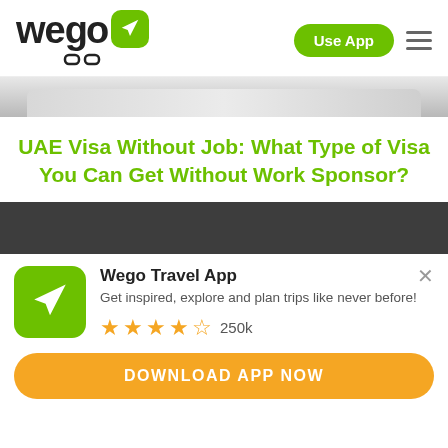wego  Use App
[Figure (screenshot): Partial image of a laptop/device — grey gradient bar]
UAE Visa Without Job: What Type of Visa You Can Get Without Work Sponsor?
[Figure (photo): Dark grey/charcoal banner band]
Wego Travel App
Get inspired, explore and plan trips like never before!
★★★★½ 250k
DOWNLOAD APP NOW